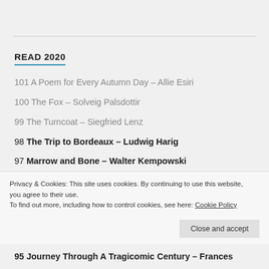READ 2020
101 A Poem for Every Autumn Day – Allie Esiri
100 The Fox – Solveig Palsdottir
99 The Turncoat – Siegfried Lenz
98 The Trip to Bordeaux – Ludwig Harig
97 Marrow and Bone – Walter Kempowski
Privacy & Cookies: This site uses cookies. By continuing to use this website, you agree to their use.
To find out more, including how to control cookies, see here: Cookie Policy
95 Journey Through A Tragicomic Century – Frances